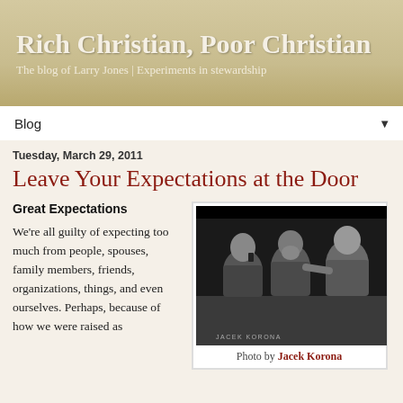Rich Christian, Poor Christian
The blog of Larry Jones | Experiments in stewardship
Blog ▼
Tuesday, March 29, 2011
Leave Your Expectations at the Door
Great Expectations
We're all guilty of expecting too much from people, spouses, family members, friends, organizations, things, and even ourselves. Perhaps, because of how we were raised as
[Figure (photo): Black and white photo of three men sitting and having an intense conversation. One man on the right is pointing at the others. Photo credit watermark: JACEK KORONA]
Photo by Jacek Korona